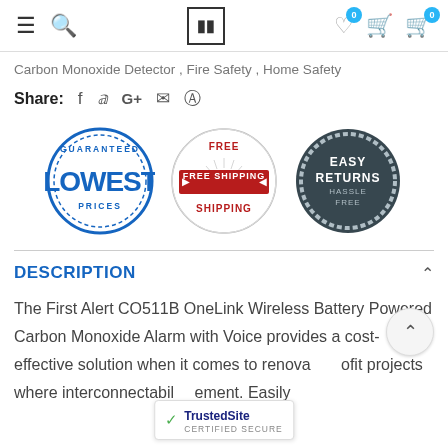Navigation header with hamburger menu, search, logo, wishlist (0), cart (0)
Carbon Monoxide Detector , Fire Safety , Home Safety
Share: f  G+  email  pinterest
[Figure (infographic): Three circular badges: Guaranteed Lowest Prices (blue stamp), Free Shipping (red/white), Easy Returns Hassle Free (dark blue)]
DESCRIPTION
The First Alert CO511B OneLink Wireless Battery Powered Carbon Monoxide Alarm with Voice provides a cost-effective solution when it comes to renovation and nonprofit projects where interconnectability is a requirement. Easily